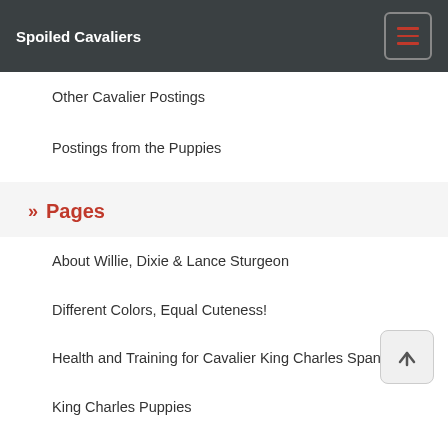Spoiled Cavaliers
Other Cavalier Postings
Postings from the Puppies
» Pages
About Willie, Dixie & Lance Sturgeon
Different Colors, Equal Cuteness!
Health and Training for Cavalier King Charles Spaniels
King Charles Puppies
King Charles Spaniel Rescue and Adoption
» Search